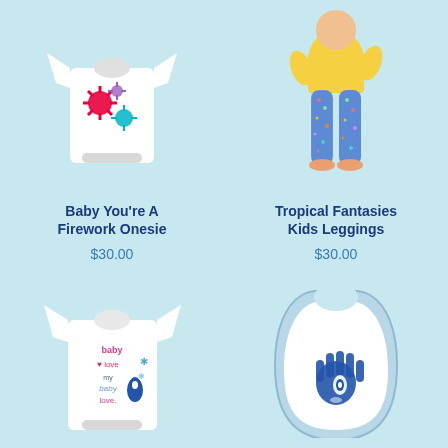[Figure (photo): White baby onesie with colorful firework/starburst graphic design]
Baby You're A Firework Onesie
$30.00
[Figure (photo): Toddler wearing yellow shirt and colorful tropical print leggings]
Tropical Fantasies Kids Leggings
$30.00
[Figure (photo): White baby onesie with 'baby love my baby love' text and snowflake/penguin design]
[Figure (photo): White baby bib with light blue border and blue hamsa hand design]